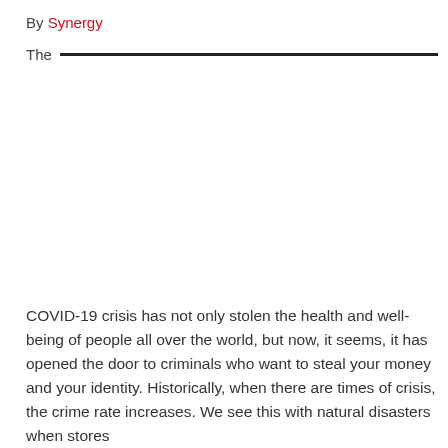By Synergy
The
COVID-19 crisis has not only stolen the health and well-being of people all over the world, but now, it seems, it has opened the door to criminals who want to steal your money and your identity. Historically, when there are times of crisis, the crime rate increases. We see this with natural disasters when stores